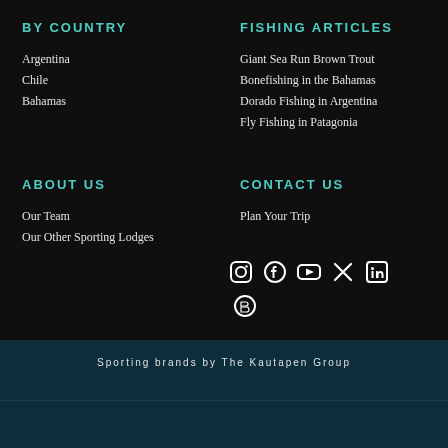BY COUNTRY
Argentina
Chile
Bahamas
FISHING ARTICLES
Giant Sea Run Brown Trout
Bonefishing in the Bahamas
Dorado Fishing in Argentina
Fly Fishing in Patagonia
ABOUT US
Our Team
Our Other Sporting Lodges
CONTACT US
Plan Your Trip
[Figure (infographic): Social media icons: Instagram, Facebook, YouTube, Twitter/X, LinkedIn, Blogger]
Sporting brands by The Kautapen Group